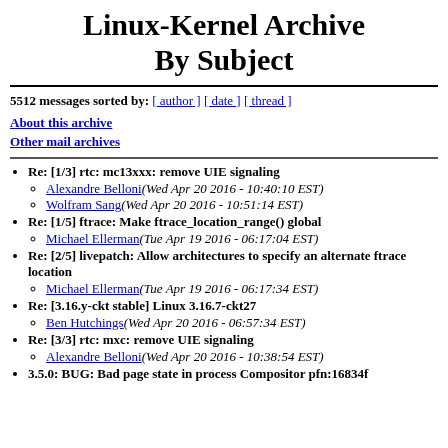Linux-Kernel Archive By Subject
5512 messages sorted by: [ author ] [ date ] [ thread ]
About this archive
Other mail archives
Re: [1/3] rtc: mc13xxx: remove UIE signaling
Alexandre Belloni(Wed Apr 20 2016 - 10:40:10 EST)
Wolfram Sang(Wed Apr 20 2016 - 10:51:14 EST)
Re: [1/5] ftrace: Make ftrace_location_range() global
Michael Ellerman(Tue Apr 19 2016 - 06:17:04 EST)
Re: [2/5] livepatch: Allow architectures to specify an alternate ftrace location
Michael Ellerman(Tue Apr 19 2016 - 06:17:34 EST)
Re: [3.16.y-ckt stable] Linux 3.16.7-ckt27
Ben Hutchings(Wed Apr 20 2016 - 06:57:34 EST)
Re: [3/3] rtc: mxc: remove UIE signaling
Alexandre Belloni(Wed Apr 20 2016 - 10:38:54 EST)
3.5.0: BUG: Bad page state in process Compositor pfn:16834f